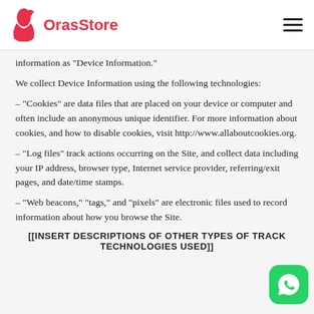OrasStore
information as “Device Information.”
We collect Device Information using the following technologies:
– “Cookies” are data files that are placed on your device or computer and often include an anonymous unique identifier. For more information about cookies, and how to disable cookies, visit http://www.allaboutcookies.org.
– “Log files” track actions occurring on the Site, and collect data including your IP address, browser type, Internet service provider, referring/exit pages, and date/time stamps.
– “Web beacons,” “tags,” and “pixels” are electronic files used to record information about how you browse the Site.
[[INSERT DESCRIPTIONS OF OTHER TYPES OF TRACKING TECHNOLOGIES USED]]